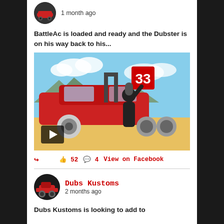1 month ago
BattleAc is loaded and ready and the Dubster is on his way back to his...
[Figure (photo): Red muscle car on a trailer, man in black t-shirt standing next to it, with a play button overlay indicating a video thumbnail]
52 likes  4 comments  View on Facebook
Dubs Kustoms
2 months ago
Dubs Kustoms is looking to add to...